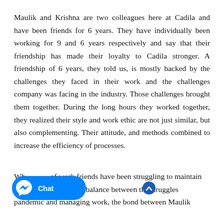Maulik and Krishna are two colleagues here at Cadila and have been friends for 6 years. They have individually been working for 9 and 6 years respectively and say that their friendship has made their loyalty to Cadila stronger. A friendship of 6 years, they told us, is mostly backed by the challenges they faced in their work and the challenges company was facing in the industry. Those challenges brought them together. During the long hours they worked together, they realized their style and work ethic are not just similar, but also complementing. Their attitude, and methods combined to increase the efficiency of processes.
Wh of work friends have been struggling to maintain wo.Chat ionships and balance between the struggles pandemic and managing work, the bond between Maulik
[Figure (other): Facebook Messenger chat button overlay with messenger icon and 'Chat' label in blue, and a chevron/arrow icon to the right]